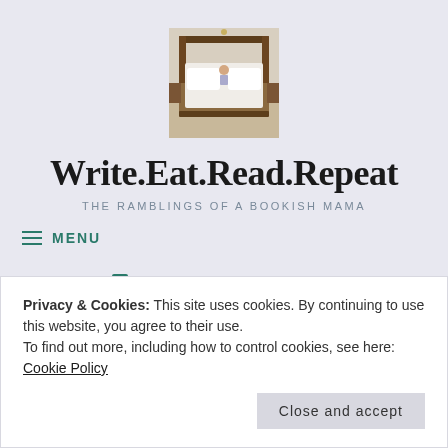[Figure (photo): Blog header photo showing a person lying on a bed with white pillows and a dark wooden four-poster bed frame]
Write.Eat.Read.Repeat
THE RAMBLINGS OF A BOOKISH MAMA
≡ MENU
09.03.2015 • 💬 1
Privacy & Cookies: This site uses cookies. By continuing to use this website, you agree to their use.
To find out more, including how to control cookies, see here: Cookie Policy
Close and accept